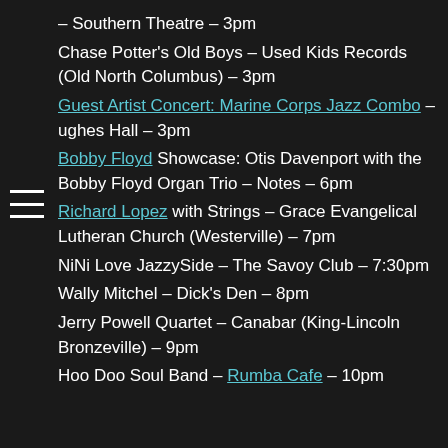– Southern Theatre – 3pm
Chase Potter's Old Boys – Used Kids Records (Old North Columbus) – 3pm
Guest Artist Concert: Marine Corps Jazz Combo – ughes Hall – 3pm
Bobby Floyd Showcase: Otis Davenport with the Bobby Floyd Organ Trio – Notes – 6pm
Richard Lopez with Strings – Grace Evangelical Lutheran Church (Westerville) – 7pm
NiNi Love JazzySide – The Savoy Club – 7:30pm
Wally Mitchel – Dick's Den – 8pm
Jerry Powell Quartet – Canabar (King-Lincoln Bronzeville) – 9pm
Hoo Doo Soul Band – Rumba Cafe – 10pm